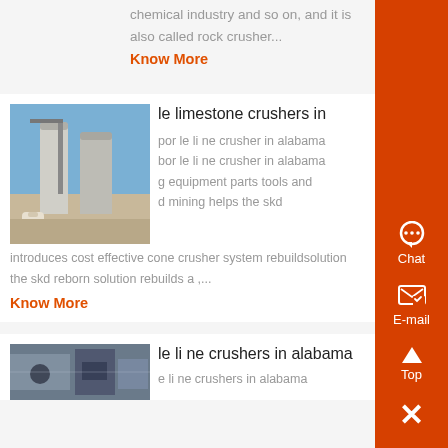chemical industry and so on, and it is also called rock crusher...
Know More
le limestone crushers in
[Figure (photo): Industrial limestone crusher facility with silos and equipment]
por le li ne crusher in alabama bor le li ne crusher in alabama g equipment parts tools and d mining helps the skd introduces cost effective cone crusher system rebuildsolution the skd reborn solution rebuilds a ,...
Know More
le li ne crushers in alabama
[Figure (photo): Industrial crusher machinery close-up]
e li ne crushers in alabama